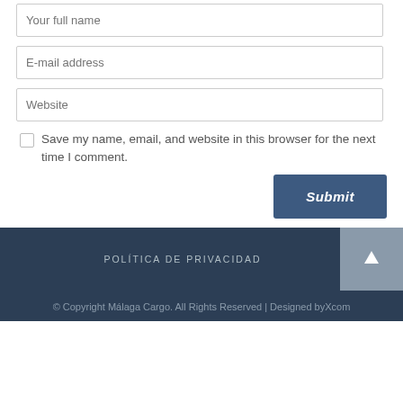Your full name
E-mail address
Website
Save my name, email, and website in this browser for the next time I comment.
Submit
POLÍTICA DE PRIVACIDAD
© Copyright Málaga Cargo. All Rights Reserved | Designed byXcom